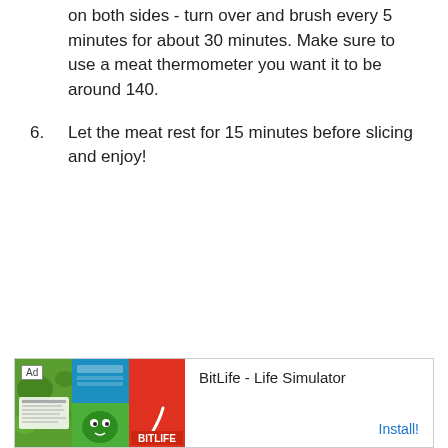on both sides - turn over and brush every 5 minutes for about 30 minutes. Make sure to use a meat thermometer you want it to be around 140.
6.  Let the meat rest for 15 minutes before slicing and enjoy!
[Figure (other): Advertisement banner for BitLife - Life Simulator app with Install button]